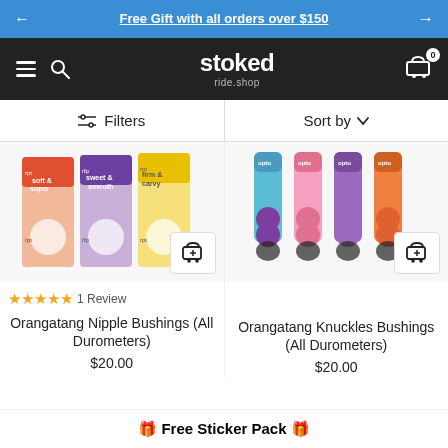Free Gift with all orders over $150
[Figure (screenshot): Stoked Ride Shop navigation bar with hamburger menu, search icon, logo, and cart icon with 0 badge]
Filters   Sort by
[Figure (photo): Orangatang Nipple Bushings product image showing three packages in red/pink, purple, and yellow variants with add to cart button]
[Figure (photo): Orangatang Knuckles Bushings product image showing blue, pink, and orange variants with add to cart button]
★★★★★ 1 Review
Orangatang Nipple Bushings (All Durometers)
Orangatang Knuckles Bushings (All Durometers)
$20.00
$20.00
🎁 Free Sticker Pack 🎁